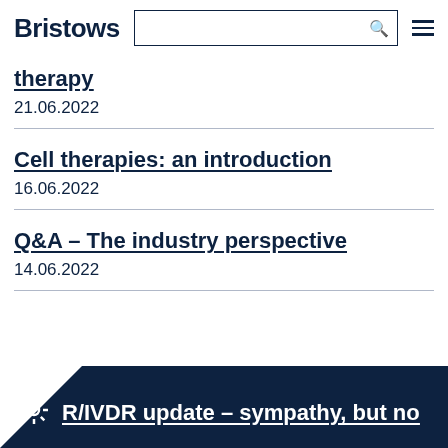Bristows
therapy
21.06.2022
Cell therapies: an introduction
16.06.2022
Q&A – The industry perspective
14.06.2022
R/IVDR update – sympathy, but no